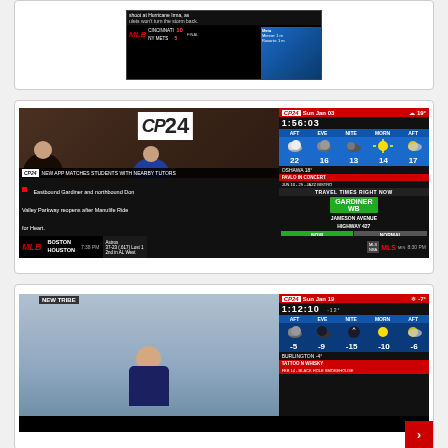[Figure (screenshot): TV screenshot showing MLB score bug: CINCINNATI 10, NY METS 5 FINAL, with weather overlay and news ticker]
[Figure (screenshot): CP24 news channel broadcast screenshot showing two men in a studio, weather forecast (Sun Jan 03, 19°, 1:56:03), travel times, Gardiner WB information, breaking news ticker about Eastbound Gardiner and Don Valley Parkway, MLB scores Boston vs Houston 7:38 PM, and MLS game at 8:30 PM]
[Figure (screenshot): CP24 news channel broadcast screenshot showing female reporter outdoors in winter, weather forecast (Sun Jan 19, -7°, 1:12:10), cold temperatures (-5, -9, -15, -10, -6), Burlington -4°, and TATTOO N WHISKY event promo]